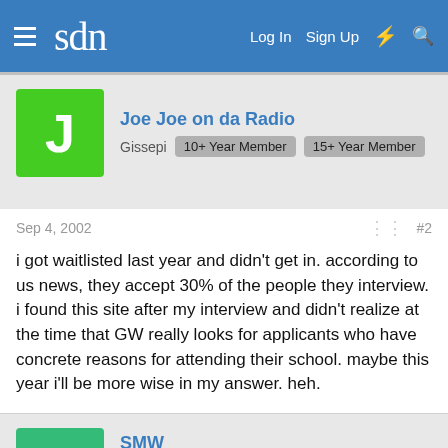sdn   Log In   Sign Up
Joe Joe on da Radio
Gissepi   10+ Year Member   15+ Year Member
Sep 4, 2002   #2
i got waitlisted last year and didn't get in. according to us news, they accept 30% of the people they interview. i found this site after my interview and didn't realize at the time that GW really looks for applicants who have concrete reasons for attending their school. maybe this year i'll be more wise in my answer. heh.
SMW
Grand Member   7+ Year Member   15+ Year Member
Sep 4, 2002   #3
They only admit about 10% of their interviewees...